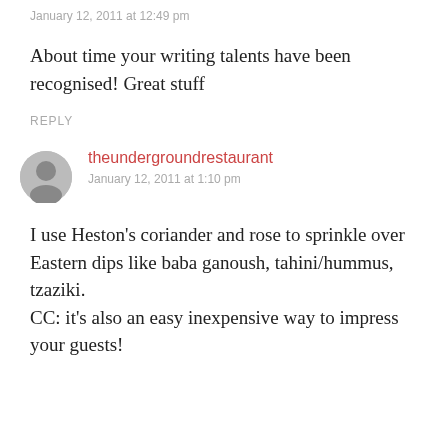January 12, 2011 at 12:49 pm
About time your writing talents have been recognised! Great stuff
REPLY
theundergroundrestaurant
January 12, 2011 at 1:10 pm
I use Heston's coriander and rose to sprinkle over Eastern dips like baba ganoush, tahini/hummus, tzaziki.
CC: it's also an easy inexpensive way to impress your guests!